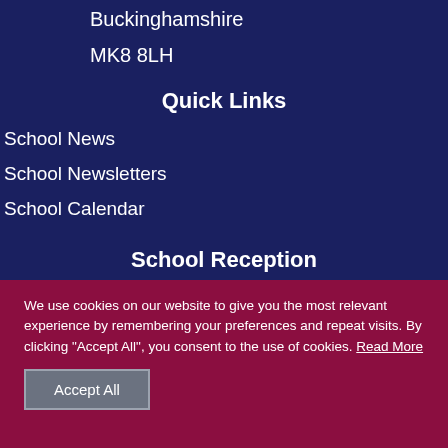Buckinghamshire
MK8 8LH
Quick Links
School News
School Newsletters
School Calendar
School Reception
We use cookies on our website to give you the most relevant experience by remembering your preferences and repeat visits. By clicking "Accept All", you consent to the use of cookies. Read More
Accept All